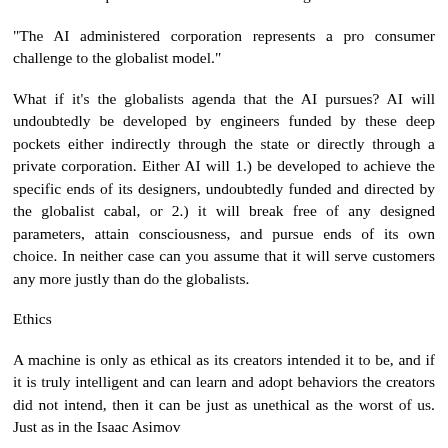and 4. Why does the introduction of a machine imply a better solution to the problem of economic forecasting?
"The AI administered corporation represents a pro consumer challenge to the globalist model."
What if it's the globalists agenda that the AI pursues? AI will undoubtedly be developed by engineers funded by these deep pockets either indirectly through the state or directly through a private corporation. Either AI will 1.) be developed to achieve the specific ends of its designers, undoubtedly funded and directed by the globalist cabal, or 2.) it will break free of any designed parameters, attain consciousness, and pursue ends of its own choice. In neither case can you assume that it will serve customers any more justly than do the globalists.
Ethics
A machine is only as ethical as its creators intended it to be, and if it is truly intelligent and can learn and adopt behaviors the creators did not intend, then it can be just as unethical as the worst of us. Just as in the Isaac Asimov